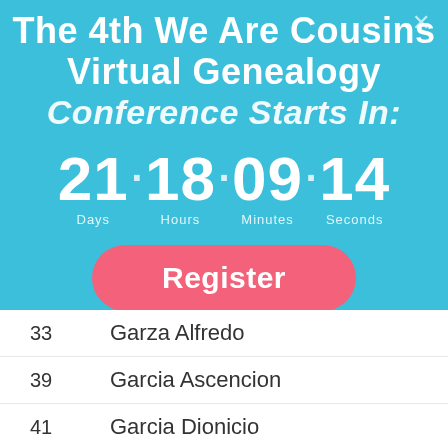The 4th We Are Cousins Virtual Genealogy Conference Starts In:
[Figure (infographic): Countdown timer showing 21 Days · 18 Hours · 09 Minutes · 14 Seconds]
Register
| 33 | Garza Alfredo |
| 39 | Garcia Ascencion |
| 41 | Garcia Dionicio |